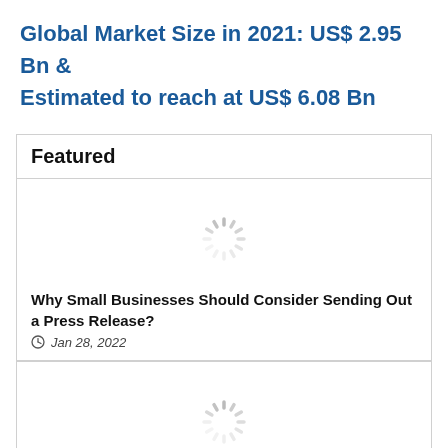Global Market Size in 2021: US$ 2.95 Bn & Estimated to reach at US$ 6.08 Bn
Featured
[Figure (other): Loading spinner icon (circular dashed spinner graphic)]
Why Small Businesses Should Consider Sending Out a Press Release?
Jan 28, 2022
[Figure (other): Loading spinner icon (circular dashed spinner graphic)]